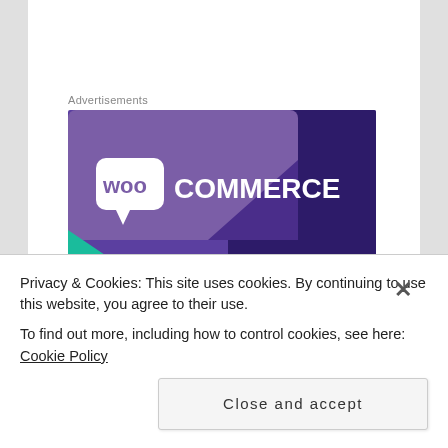Advertisements
[Figure (logo): WooCommerce advertisement banner with purple background and white WooCommerce logo text]
Twitter: https://twitter.com/AnnWhynotWrites
Privacy & Cookies: This site uses cookies. By continuing to use this website, you agree to their use.
To find out more, including how to control cookies, see here: Cookie Policy
Close and accept